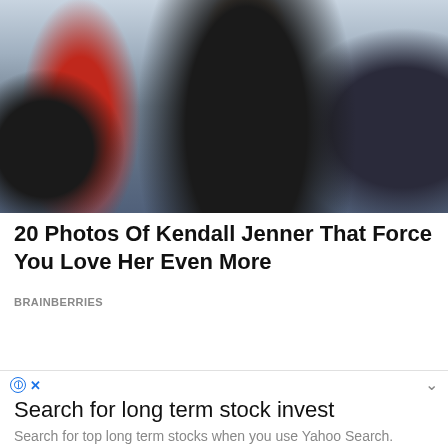[Figure (photo): Street photo of a woman in a black blazer and crop top holding a drink cup with a blue straw, with a man in a red shirt reaching out from a car window on the left, and another car on the right, palm trees visible in background]
20 Photos Of Kendall Jenner That Force You Love Her Even More
BRAINBERRIES
[Figure (photo): Partial thumbnail images of two people's hair/faces, cropped at bottom of page]
Search for long term stock invest
Search for top long term stocks when you use Yahoo Search.
continue